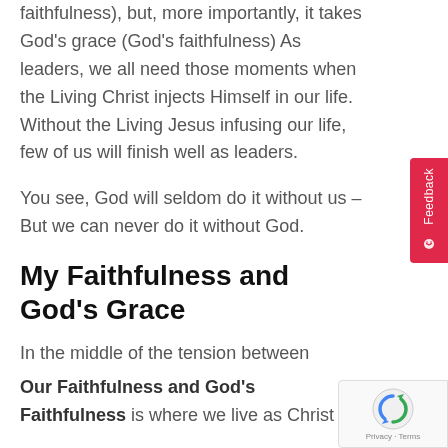faithfulness), but, more importantly, it takes God's grace (God's faithfulness) As leaders, we all need those moments when the Living Christ injects Himself in our life. Without the Living Jesus infusing our life, few of us will finish well as leaders.
You see, God will seldom do it without us – But we can never do it without God.
My Faithfulness and God's Grace
In the middle of the tension between
Our Faithfulness and God's Faithfulness is where we live as Christ